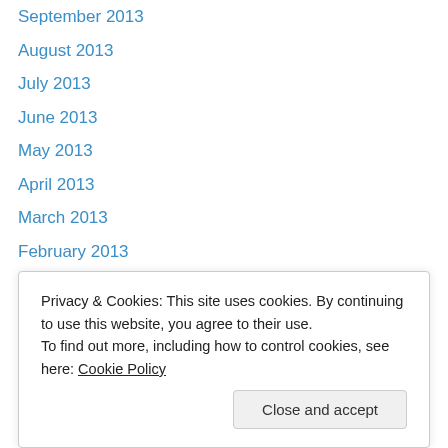September 2013
August 2013
July 2013
June 2013
May 2013
April 2013
March 2013
February 2013
January 2013
December 2012
November 2012
August 2012
July 2012
June 2012
Privacy & Cookies: This site uses cookies. By continuing to use this website, you agree to their use. To find out more, including how to control cookies, see here: Cookie Policy